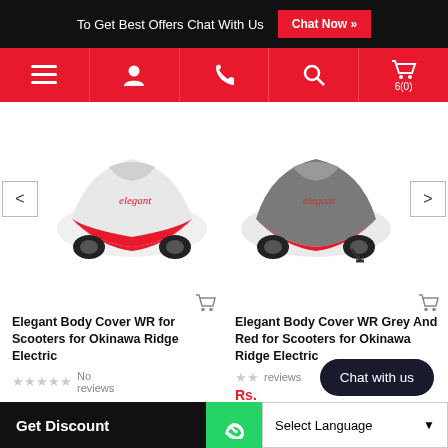To Get Best Offers Chat With Us  Chat Now »
[Figure (screenshot): Navigation bar with menu, user, phone, search, and cart icons on red background]
[Figure (photo): Elegant Body Cover WR for Scooters (white and red) on display]
[Figure (photo): Elegant Body Cover WR Grey And Red for Scooters on display]
Elegant Body Cover WR for Scooters for Okinawa Ridge Electric
★★★★★ No reviews
Elegant Body Cover WR Grey And Red for Scooters for Okinawa Ridge Electric
★★★★★ reviews
Rs. 730
Chat with us
Get Discount
Select Language